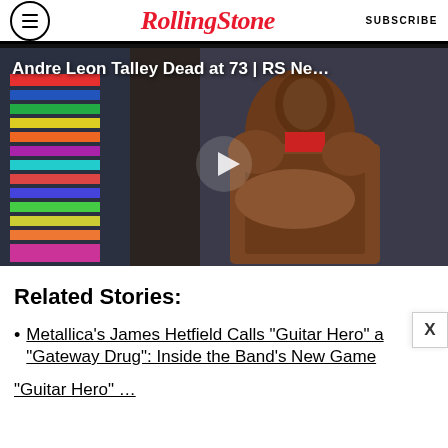Rolling Stone | SUBSCRIBE
[Figure (screenshot): Video thumbnail showing a man in an ornate robe with text overlay 'Andre Leon Talley Dead at 73 | RS Ne...' and a play button]
Related Stories:
Metallica's James Hetfield Calls "Guitar Hero" a "Gateway Drug": Inside the Band's New Game
"Guitar Hero" ... (truncated)